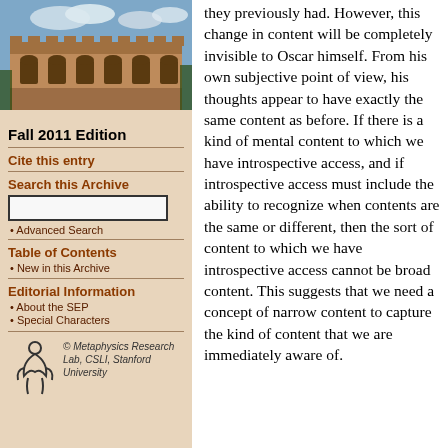[Figure (photo): Aerial or exterior view of a historic stone university building (likely Oxford or similar) with gothic architecture under a partly cloudy sky]
Fall 2011 Edition
Cite this entry
Search this Archive
Advanced Search
Table of Contents
New in this Archive
Editorial Information
About the SEP
Special Characters
[Figure (logo): Metaphysics Research Lab logo with stylized figure]
© Metaphysics Research Lab, CSLI, Stanford University
they previously had. However, this change in content will be completely invisible to Oscar himself. From his own subjective point of view, his thoughts appear to have exactly the same content as before. If there is a kind of mental content to which we have introspective access, and if introspective access must include the ability to recognize when contents are the same or different, then the sort of content to which we have introspective access cannot be broad content. This suggests that we need a concept of narrow content to capture the kind of content that we are immediately aware of.